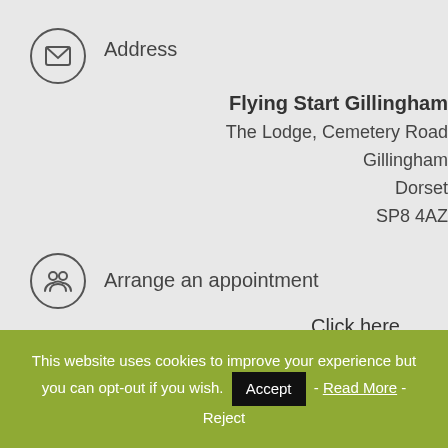Address
Flying Start Gillingham
The Lodge, Cemetery Road
Gillingham
Dorset
SP8 4AZ
Arrange an appointment
Click here
This website uses cookies to improve your experience but you can opt-out if you wish. Accept - Read More - Reject